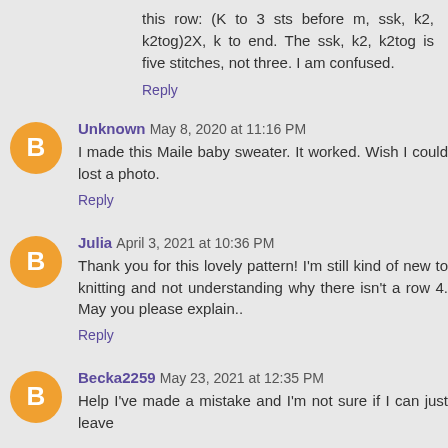this row: (K to 3 sts before m, ssk, k2, k2tog)2X, k to end. The ssk, k2, k2tog is five stitches, not three. I am confused.
Reply
Unknown May 8, 2020 at 11:16 PM
I made this Maile baby sweater. It worked. Wish I could lost a photo.
Reply
Julia April 3, 2021 at 10:36 PM
Thank you for this lovely pattern! I'm still kind of new to knitting and not understanding why there isn't a row 4. May you please explain..
Reply
Becka2259 May 23, 2021 at 12:35 PM
Help I've made a mistake and I'm not sure if I can just leave